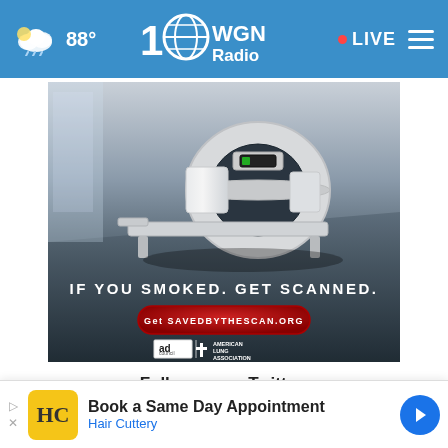88° WGN Radio · LIVE
[Figure (photo): Advertisement showing a CT scanner machine in a room with text 'IF YOU SMOKED. GET SCANNED.' and a red button reading 'Get SAVEDBYTHESCAN.ORG', with Ad Council and American Lung Association logos]
Follow us on Twitter:
Follow @wgnradio   55.9K followers
[Figure (other): Bottom advertisement bar: Hair Cuttery - Book a Same Day Appointment]